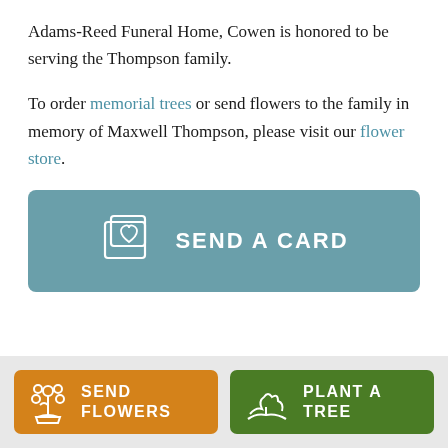Adams-Reed Funeral Home, Cowen is honored to be serving the Thompson family.
To order memorial trees or send flowers to the family in memory of Maxwell Thompson, please visit our flower store.
[Figure (other): A teal/blue-green button with a greeting card icon and the text SEND A CARD]
[Figure (other): Bottom bar with two buttons: orange SEND FLOWERS button with bouquet icon, and green PLANT A TREE button with seedling/hand icon]